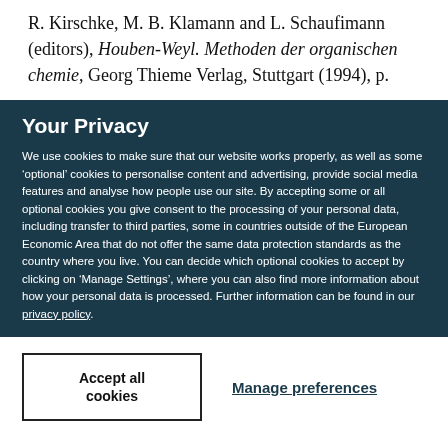R. Kirschke, M. B. Klamann and L. Schaufimann (editors), Houben-Weyl. Methoden der organischen chemie, Georg Thieme Verlag, Stuttgart (1994), p.
Your Privacy
We use cookies to make sure that our website works properly, as well as some ‘optional’ cookies to personalise content and advertising, provide social media features and analyse how people use our site. By accepting some or all optional cookies you give consent to the processing of your personal data, including transfer to third parties, some in countries outside of the European Economic Area that do not offer the same data protection standards as the country where you live. You can decide which optional cookies to accept by clicking on ‘Manage Settings’, where you can also find more information about how your personal data is processed. Further information can be found in our privacy policy.
Accept all cookies
Manage preferences